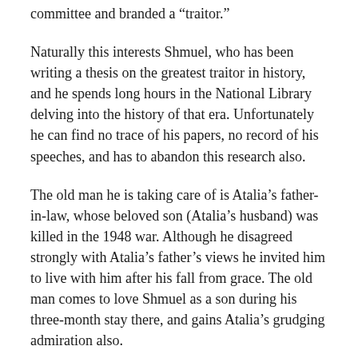committee and branded a “traitor.”
Naturally this interests Shmuel, who has been writing a thesis on the greatest traitor in history, and he spends long hours in the National Library delving into the history of that era. Unfortunately he can find no trace of his papers, no record of his speeches, and has to abandon this research also.
The old man he is taking care of is Atalia’s father-in-law, whose beloved son (Atalia’s husband) was killed in the 1948 war. Although he disagreed strongly with Atalia’s father’s views he invited him to live with him after his fall from grace. The old man comes to love Shmuel as a son during his three-month stay there, and gains Atalia’s grudging admiration also.
It seems Shmuel is the fourth of a succession of